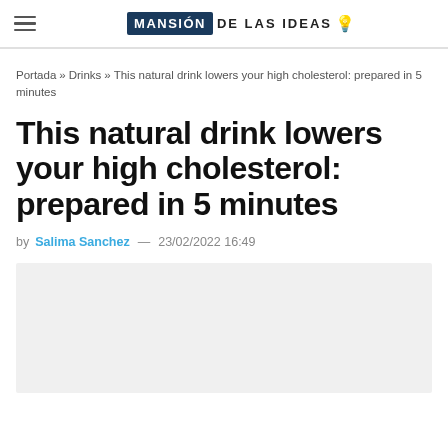MANSIÓN DE LAS IDEAS 💡
Portada » Drinks » This natural drink lowers your high cholesterol: prepared in 5 minutes
This natural drink lowers your high cholesterol: prepared in 5 minutes
by Salima Sanchez — 23/02/2022 16:49
[Figure (photo): Article image placeholder (light gray background)]